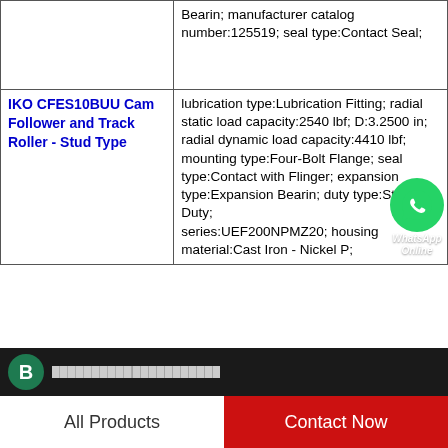| Product | Specifications |
| --- | --- |
|  | Bearin; manufacturer catalog number:125519; seal type:Contact Seal; |
| IKO CFES10BUU Cam Follower and Track Roller - Stud Type | lubrication type:Lubrication Fitting; radial static load capacity:2540 lbf; D:3.2500 in; radial dynamic load capacity:4410 lbf; mounting type:Four-Bolt Flange; seal type:Contact with Flinger; expansion type:Expansion Bearin; duty type:Standard Duty; series:UEF200NPMZ20; housing material:Cast Iron - Nickel P; |
All Products   Contact Now